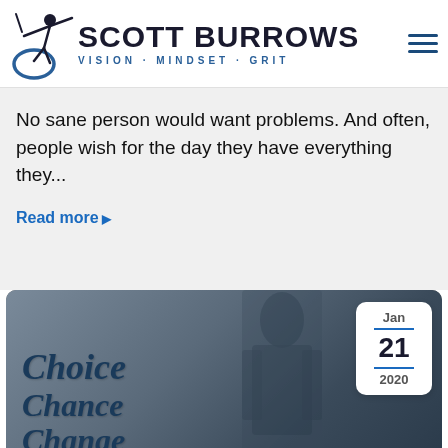[Figure (logo): Scott Burrows logo with archer figure silhouette and text 'SCOTT BURROWS VISION · MINDSET · GRIT']
No sane person would want problems. And often, people wish for the day they have everything they...
Read more ▶
[Figure (photo): Blog card image showing text 'Choice Chance Change' in dark italic font overlaid on a dark background with a person in a suit. Date badge shows Jan 21 2020.]